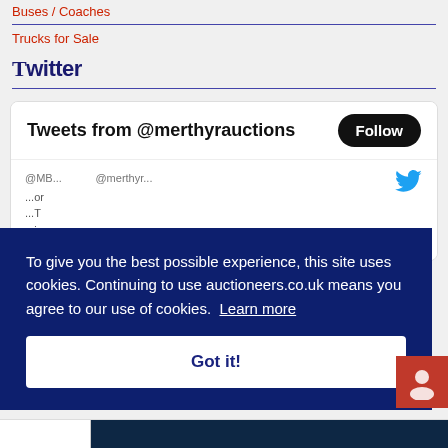Buses / Coaches
Trucks for Sale
Twitter
[Figure (screenshot): Twitter widget showing 'Tweets from @merthyrauctions' with a Follow button and partial tweet preview]
To give you the best possible experience, this site uses cookies. Continuing to use auctioneers.co.uk means you agree to our use of cookies. Learn more
Got it!